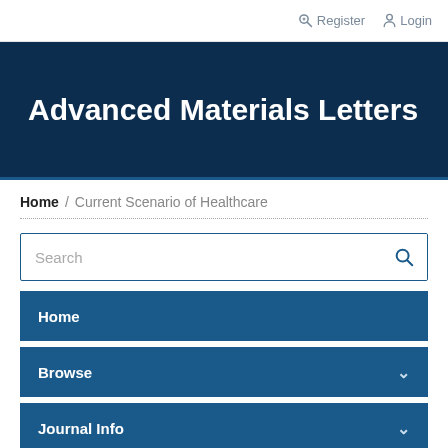Register   Login
Advanced Materials Letters
Home / Current Scenario of Healthcare
Search
Home
Browse
Journal Info